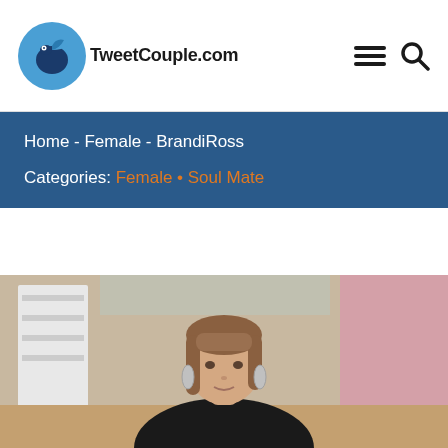TweetCouple.com
Home - Female - BrandiRoss
Categories: Female • Soul Mate
[Figure (photo): Young woman with light brown hair and large hoop earrings, looking toward camera, seated in a room with blurred background showing shelves and pink decor.]